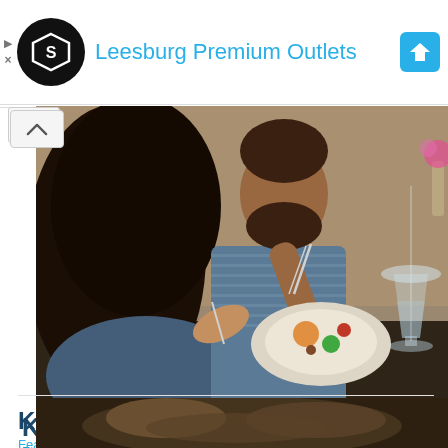[Figure (logo): Advertisement banner with black circular logo (Shoprunner/similar), text 'Leesburg Premium Outlets' in blue, and blue navigation arrow icon on right. Ad controls (triangle play and X) on left side.]
[Figure (photo): Photo of a couple dining at a restaurant. A woman with long dark hair in a denim jacket and a man in a striped blue shirt eating with forks, with plates of food and a wine glass on the table.]
Kumback Café, Perry, OK
Featured in 10 Best Historic Restaurants in Oklahoma
This café that was founded in 1926, calls itself the oldest café in Oklahoma with the same name at the same location. The proprietor was known for giving free steak dinners to soldiers... Read More
[Figure (photo): Partial view of a second restaurant photo at the bottom of the page, showing what appears to be food on a dark plate.]